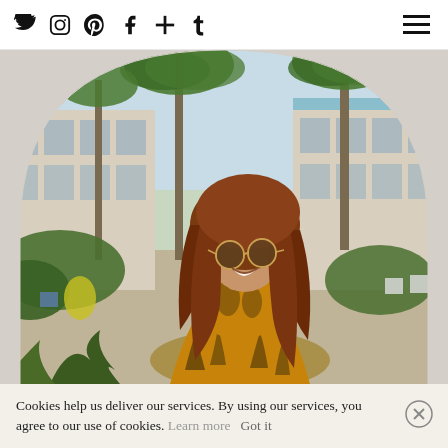Social media navigation bar with icons: Twitter, Instagram, Pinterest, Facebook, Plus, Tumblr, and hamburger menu
[Figure (photo): A woman with long flowing auburn hair, wearing round sunglasses and a golden floral/paisley dress, smiling and looking back over her shoulder. She is standing in front of a mid-century modern building with large windows, palm trees, and tropical vegetation in a sunny outdoor setting. The image is framed in an arch/rounded-top shape.]
Cookies help us deliver our services. By using our services, you agree to our use of cookies. Learn more Got it